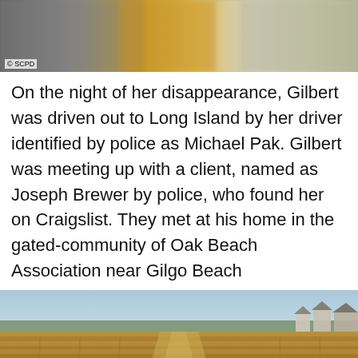[Figure (photo): Top partial photo showing blurred/abstract colors — yellow, grey, green tones — with '© SCPD' watermark in lower left corner.]
On the night of her disappearance, Gilbert was driven out to Long Island by her driver identified by police as Michael Pak. Gilbert was meeting up with a client, named as Joseph Brewer by police, who found her on Craigslist. They met at his home in the gated-community of Oak Beach Association near Gilgo Beach
[Figure (photo): Aerial photograph of a flat coastal marshland with dry brown reeds/grasses, a trail/path visible in the center, buildings visible in the far right background, and a light blue sky on the horizon.]